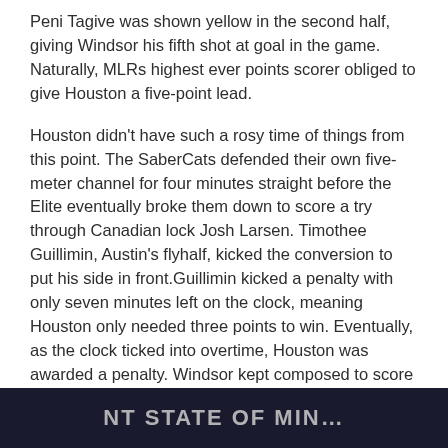Peni Tagive was shown yellow in the second half, giving Windsor his fifth shot at goal in the game. Naturally, MLRs highest ever points scorer obliged to give Houston a five-point lead.
Houston didn't have such a rosy time of things from this point. The SaberCats defended their own five-meter channel for four minutes straight before the Elite eventually broke them down to score a try through Canadian lock Josh Larsen. Timothee Guillimin, Austin's flyhalf, kicked the conversion to put his side in front.Guillimin kicked a penalty with only seven minutes left on the clock, meaning Houston only needed three points to win. Eventually, as the clock ticked into overtime, Houston was awarded a penalty. Windsor kept composed to score his seventh penalty of the game and secure a Houston win.
[Figure (photo): Partial banner or sign reading 'NT STATE OF MIN...' with a partial face visible on the right side]